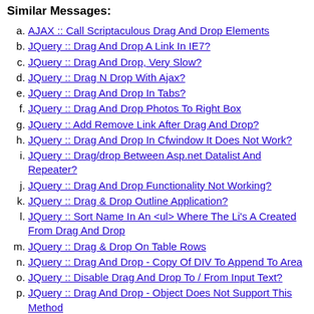Similar Messages:
AJAX :: Call Scriptaculous Drag And Drop Elements
JQuery :: Drag And Drop A Link In IE7?
JQuery :: Drag And Drop, Very Slow?
JQuery :: Drag N Drop With Ajax?
JQuery :: Drag And Drop In Tabs?
JQuery :: Drag And Drop Photos To Right Box
JQuery :: Add Remove Link After Drag And Drop?
JQuery :: Drag And Drop In Cfwindow It Does Not Work?
JQuery :: Drag/drop Between Asp.net Datalist And Repeater?
JQuery :: Drag And Drop Functionality Not Working?
JQuery :: Drag & Drop Outline Application?
JQuery :: Sort Name In An <ul> Where The Li's A Created From Drag And Drop
JQuery :: Drag & Drop On Table Rows
JQuery :: Drag And Drop - Copy Of DIV To Append To Area
JQuery :: Disable Drag And Drop To / From Input Text?
JQuery :: Drag And Drop - Object Does Not Support This Method
JQuery :: Drag And Drop Between Multiple Lists And Sortable
JQuery :: Drag And Drop - Image (broken Javascript)?